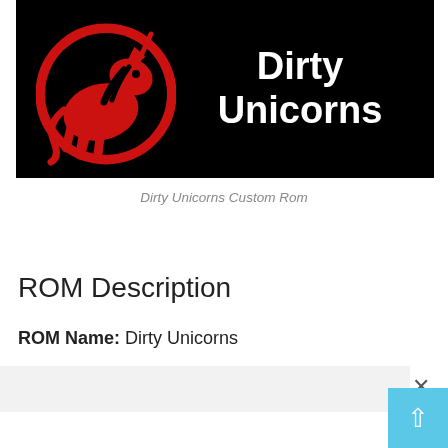[Figure (logo): Dirty Unicorns logo on black background: red unicorn silhouette in a red circle on the left, white bold text 'Dirty Unicorns' on the right]
Dirty Unicorns Custom Rom
ROM Description
ROM Name: Dirty Unicorns